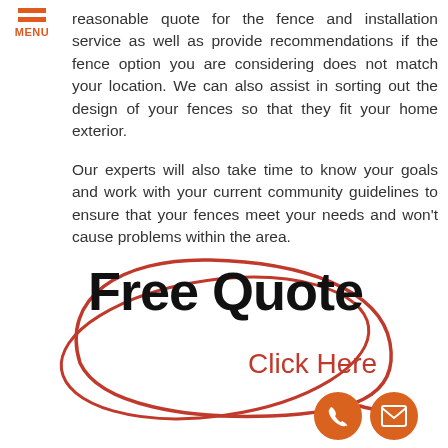MENU
reasonable quote for the fence and installation service as well as provide recommendations if the fence option you are considering does not match your location. We can also assist in sorting out the design of your fences so that they fit your home exterior.
Our experts will also take time to know your goals and work with your current community guidelines to ensure that your fences meet your needs and won't cause problems within the area.
[Figure (illustration): Handwritten-style text reading 'Free Quote' in large black script with 'Click Here' in smaller red script below, enclosed in a red hand-drawn oval, with orange phone and mail icons at bottom right.]